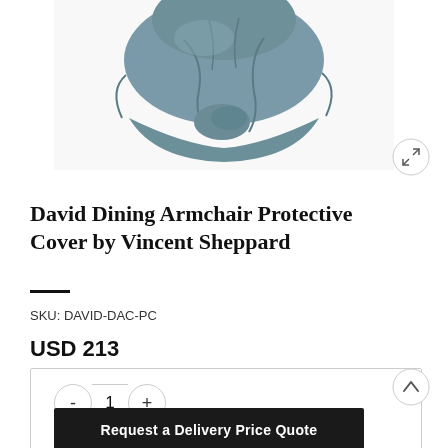[Figure (photo): Product photo of David Dining Armchair Protective Cover — a grey/slate-blue fabric chair cover draped over a chair, shown from the front on white background]
David Dining Armchair Protective Cover by Vincent Sheppard
SKU: DAVID-DAC-PC
USD 213
- 1 +
Request a Delivery Price Quote